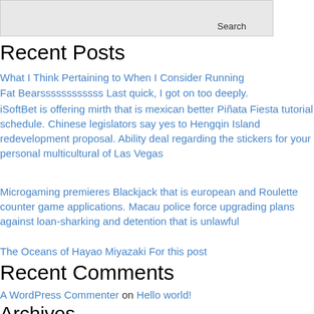[Figure (other): Search input box with Search button]
Recent Posts
What I Think Pertaining to When I Consider Running
Fat Bearssssssssssss Last quick, I got on too deeply.
iSoftBet is offering mirth that is mexican better Piñata Fiesta tutorial schedule. Chinese legislators say yes to Hengqin Island redevelopment proposal. Ability deal regarding the stickers for your personal multicultural of Las Vegas
Microgaming premieres Blackjack that is european and Roulette counter game applications. Macau police force upgrading plans against loan-sharking and detention that is unlawful
The Oceans of Hayao Miyazaki For this post
Recent Comments
A WordPress Commenter on Hello world!
Archives
August 2019
July 2019
June 2019
May 2019